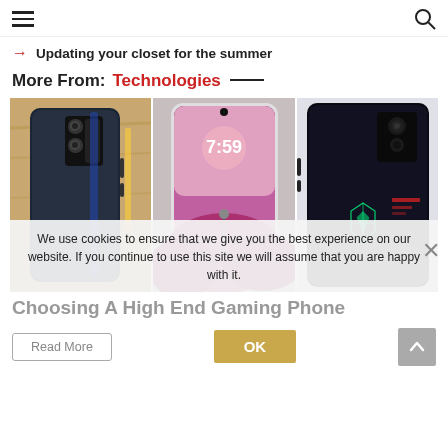☰  [search icon]
→  Updating your closet for the summer
More From: Technologies —
[Figure (photo): Three smartphones shown side by side: left is the back of a dark blue/black phone on a wooden desk, center shows a phone face-up with a colorful wallpaper and time 7:59, right shows the back of a black ASUS ROG gaming phone with a glowing logo.]
We use cookies to ensure that we give you the best experience on our website. If you continue to use this site we will assume that you are happy with it.
Choosing A High End Gaming Phone
Read More
OK